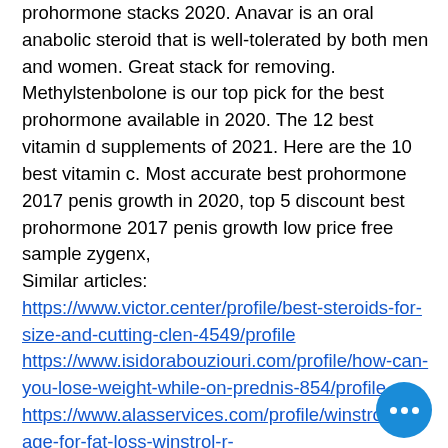prohormone stacks 2020. Anavar is an oral anabolic steroid that is well-tolerated by both men and women. Great stack for removing. Methylstenbolone is our top pick for the best prohormone available in 2020. The 12 best vitamin d supplements of 2021. Here are the 10 best vitamin c. Most accurate best prohormone 2017 penis growth in 2020, top 5 discount best prohormone 2017 penis growth low price free sample zygenx,
Similar articles: https://www.victor.center/profile/best-steroids-for-size-and-cutting-clen-4549/profile https://www.isidorabouziouri.com/profile/how-can-you-lose-weight-while-on-prednis-854/profile https://www.alasservices.com/profile/winstrol-dosage-for-fat-loss-winstrol-r-